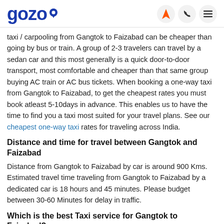gozo
taxi / carpooling from Gangtok to Faizabad can be cheaper than going by bus or train. A group of 2-3 travelers can travel by a sedan car and this most generally is a quick door-to-door transport, most comfortable and cheaper than that same group buying AC train or AC bus tickets. When booking a one-way taxi from Gangtok to Faizabad, to get the cheapest rates you must book atleast 5-10days in advance. This enables us to have the time to find you a taxi most suited for your travel plans. See our cheapest one-way taxi rates for traveling across India.
Distance and time for travel between Gangtok and Faizabad
Distance from Gangtok to Faizabad by car is around 900 Kms. Estimated travel time traveling from Gangtok to Faizabad by a dedicated car is 18 hours and 45 minutes. Please budget between 30-60 Minutes for delay in traffic.
Which is the best Taxi service for Gangtok to Faizabad?